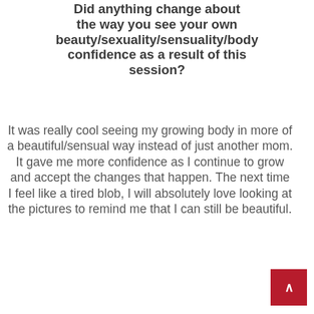Did anything change about the way you see your own beauty/sexuality/sensuality/body confidence as a result of this session?
It was really cool seeing my growing body in more of a beautiful/sensual way instead of just another mom. It gave me more confidence as I continue to grow and accept the changes that happen. The next time I feel like a tired blob, I will absolutely love looking at the pictures to remind me that I can still be beautiful.